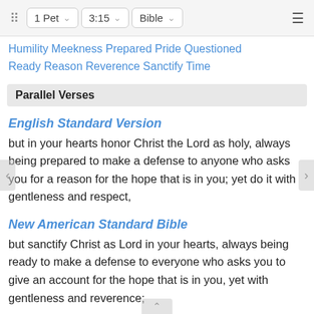1 Pet  3:15  Bible
Humility Meekness Prepared Pride Questioned Ready Reason Reverence Sanctify Time
Parallel Verses
English Standard Version
but in your hearts honor Christ the Lord as holy, always being prepared to make a defense to anyone who asks you for a reason for the hope that is in you; yet do it with gentleness and respect,
New American Standard Bible
but sanctify Christ as Lord in your hearts, always being ready to make a defense to everyone who asks you to give an account for the hope that is in you, yet with gentleness and reverence;
King James Bible
But sanctify the Lord God in your hearts: and be